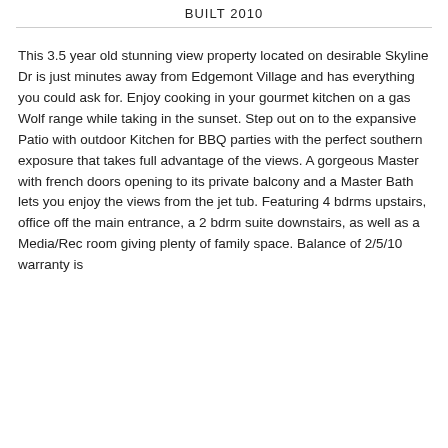BUILT 2010
This 3.5 year old stunning view property located on desirable Skyline Dr is just minutes away from Edgemont Village and has everything you could ask for. Enjoy cooking in your gourmet kitchen on a gas Wolf range while taking in the sunset. Step out on to the expansive Patio with outdoor Kitchen for BBQ parties with the perfect southern exposure that takes full advantage of the views. A gorgeous Master with french doors opening to its private balcony and a Master Bath lets you enjoy the views from the jet tub. Featuring 4 bdrms upstairs, office off the main entrance, a 2 bdrm suite downstairs, as well as a Media/Rec room giving plenty of family space. Balance of 2/5/10 warranty is